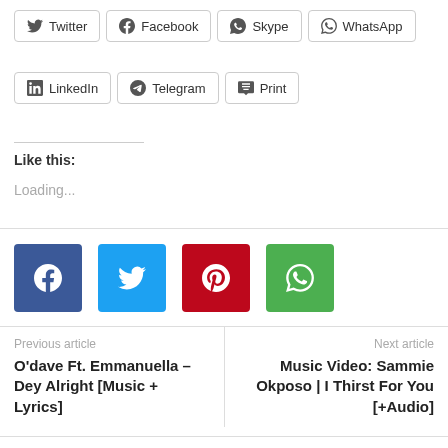Twitter
Facebook
Skype
WhatsApp
LinkedIn
Telegram
Print
Like this:
Loading...
[Figure (infographic): Social share icon buttons: Facebook (blue), Twitter (light blue), Pinterest (red), WhatsApp (green)]
Previous article
O'dave Ft. Emmanuella – Dey Alright [Music + Lyrics]
Next article
Music Video: Sammie Okposo | I Thirst For You [+Audio]